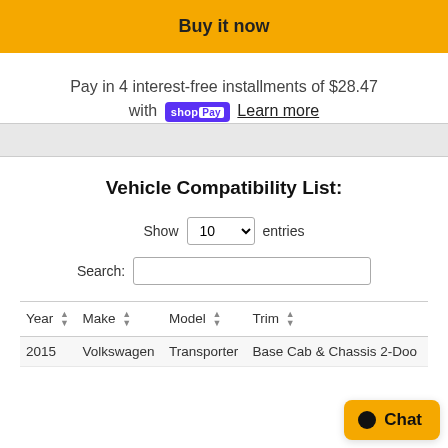Buy it now
Pay in 4 interest-free installments of $28.47 with shopPay Learn more
Vehicle Compatibility List:
Show 10 entries
Search:
| Year | Make | Model | Trim |
| --- | --- | --- | --- |
| 2015 | Volkswagen | Transporter | Base Cab & Chassis 2-Doo |